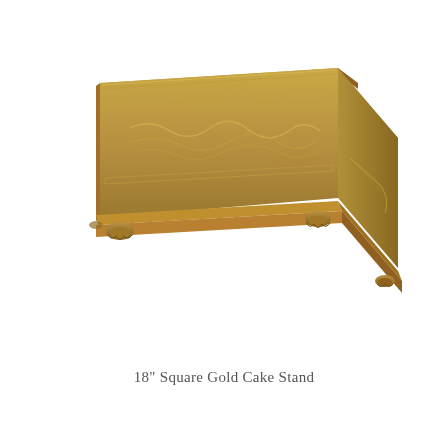[Figure (photo): A square gold cake stand with ornate embossed floral and scroll pattern on the sides and border, featuring decorative claw feet at each corner. The stand is photographed at an angle showing the top surface and front/right sides. The finish is antique gold/champagne colored metal.]
18" Square Gold Cake Stand